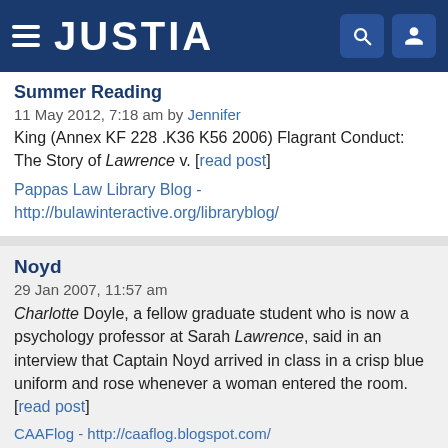JUSTIA
Summer Reading
11 May 2012, 7:18 am by Jennifer
King (Annex KF 228 .K36 K56 2006) Flagrant Conduct: The Story of Lawrence v. [read post]
Pappas Law Library Blog - http://bulawinteractive.org/libraryblog/
Noyd
29 Jan 2007, 11:57 am
Charlotte Doyle, a fellow graduate student who is now a psychology professor at Sarah Lawrence, said in an interview that Captain Noyd arrived in class in a crisp blue uniform and rose whenever a woman entered the room. [read post]
CAAFlog - http://caaflog.blogspot.com/